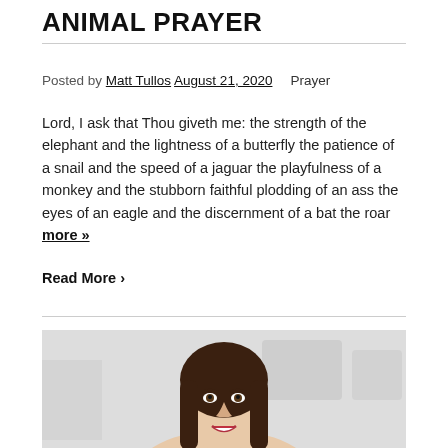ANIMAL PRAYER
Posted by Matt Tullos August 21, 2020   Prayer
Lord, I ask that Thou giveth me: the strength of the elephant and the lightness of a butterfly the patience of a snail and the speed of a jaguar the playfulness of a monkey and the stubborn faithful plodding of an ass the eyes of an eagle and the discernment of a bat the roar more »
Read More ❯
[Figure (photo): A smiling young woman with long dark hair looking upward, photographed against a light blurred background.]